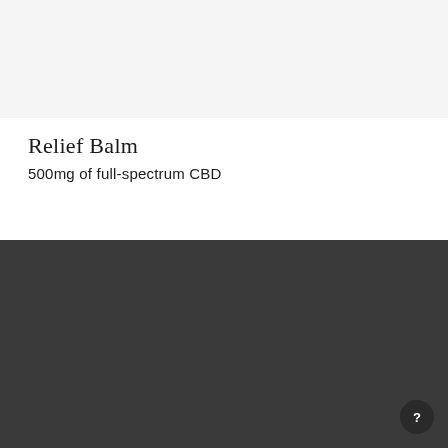[Figure (photo): Product image area - light gray placeholder representing a product photo]
Relief Balm
500mg of full-spectrum CBD
ALSO OF INTEREST
CBD GUMMIES VS CAPSULES: WHAT'S THE DIFFERENCE?
PERSONALIZED WELLNESS FOR MODERN WOMEN.
CBD SOFTGELS